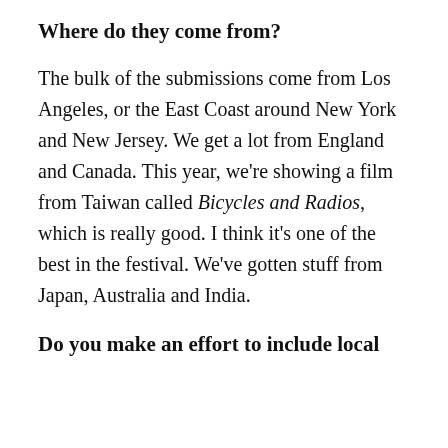Where do they come from?
The bulk of the submissions come from Los Angeles, or the East Coast around New York and New Jersey. We get a lot from England and Canada. This year, we're showing a film from Taiwan called Bicycles and Radios, which is really good. I think it's one of the best in the festival. We've gotten stuff from Japan, Australia and India.
Do you make an effort to include local